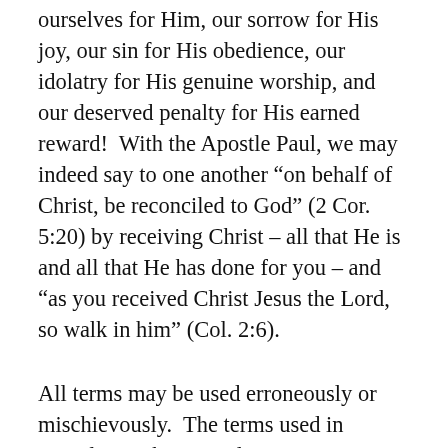ourselves for Him, our sorrow for His joy, our sin for His obedience, our idolatry for His genuine worship, and our deserved penalty for His earned reward!  With the Apostle Paul, we may indeed say to one another “on behalf of Christ, be reconciled to God” (2 Cor. 5:20) by receiving Christ – all that He is and all that He has done for you – and “as you received Christ Jesus the Lord, so walk in him” (Col. 2:6).
All terms may be used erroneously or mischievously.  The terms used in articulating the Gospel are most important because of the message they communicate; therefore to twist and mangle them is supremely egregious regardless of intent.  This should drive us to a reverent and diligent commitment to